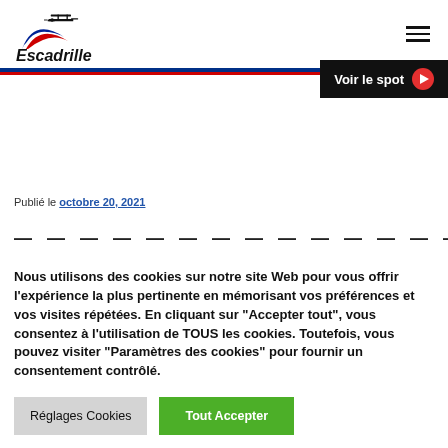Escadrille
[Figure (logo): Escadrille logo with vintage biplane and tricolor swoosh]
Voir le spot
Publié le octobre 20, 2021
Nous utilisons des cookies sur notre site Web pour vous offrir l'expérience la plus pertinente en mémorisant vos préférences et vos visites répétées. En cliquant sur "Accepter tout", vous consentez à l'utilisation de TOUS les cookies. Toutefois, vous pouvez visiter "Paramètres des cookies" pour fournir un consentement contrôlé.
Réglages Cookies
Tout Accepter